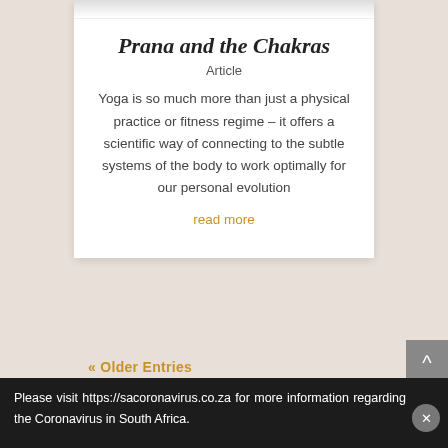Prana and the Chakras
Article
Yoga is so much more than just a physical practice or fitness regime – it offers a scientific way of connecting to the subtle systems of the body to work optimally for our personal evolution
read more
« Older Entries
[Figure (photo): Interior room photo strip showing furniture in warm tones]
Please visit https://sacoronavirus.co.za for more information regarding the Coronavirus in South Africa.